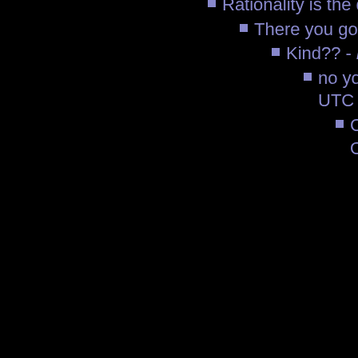Rationality is the question - harvey1
There you go again... - emper
Kind?? - harvey1 - Octo
no you don't unde UTC
Consequen October 13
The